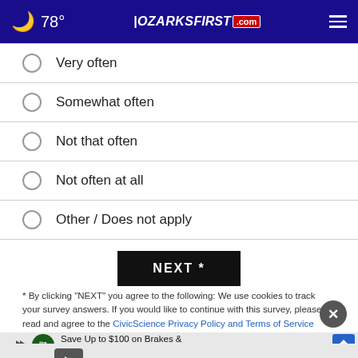🌙 78° | OZARKSFIRST.com
Very often
Somewhat often
Not that often
Not often at all
Other / Does not apply
NEXT *
* By clicking "NEXT" you agree to the following: We use cookies to track your survey answers. If you would like to continue with this survey, please read and agree to the CivicScience Privacy Policy and Terms of Service
[Figure (screenshot): Advertisement banner: Save Up to $100 on Brakes & Rotors at Virginia Tire & Auto]
TOP S... A has